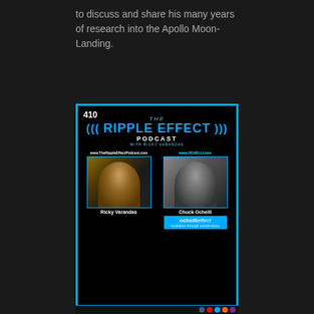to discuss and share his many years of research into the Apollo Moon-Landing.
[Figure (photo): Podcast cover image for The Ripple Effect Podcast episode 410 featuring Ricky Varandas and Chuck Ochelli (ochellieffect). Blue border, black background, two host photos, website URLs www.TheRippleEffectPodcast.com and www.OCHELLI.com shown.]